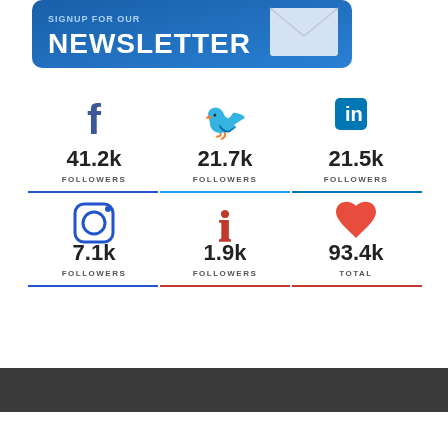[Figure (infographic): Newsletter signup banner — blue gradient background with 'SIGNUP FOR OUR NEWSLETTER' text and envelope icon]
[Figure (infographic): Social media follower counts grid: Facebook 41.2k Followers, Twitter 21.7k Followers, LinkedIn 21.5k Followers, Instagram 7.1k Followers, Pinterest 1.9k Followers, Heart/Total 93.4k Total]